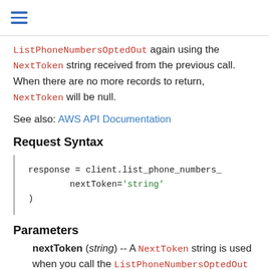≡
ListPhoneNumbersOptedOut again using the NextToken string received from the previous call. When there are no more records to return, NextToken will be null.
See also: AWS API Documentation
Request Syntax
Parameters
nextToken (string) -- A NextToken string is used when you call the ListPhoneNumbersOptedOut action to retrieve additional records that are